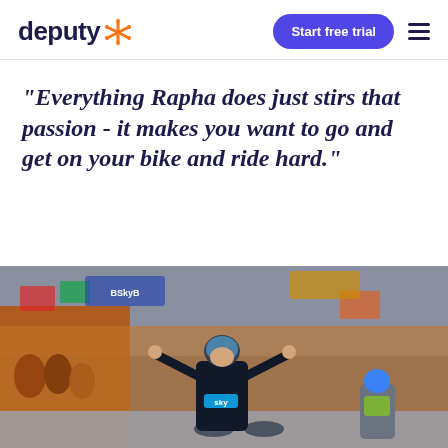deputy (logo) | Start free trial | menu
"Everything Rapha does just stirs that passion - it makes you want to go and get on your bike and ride hard."
[Figure (photo): A cyclist in a Team Sky jersey celebrating a race victory with arms raised, surrounded by crowds of spectators, with other cyclists visible in the background]